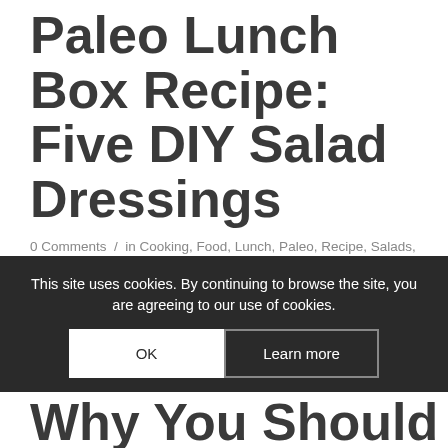Paleo Lunch Box Recipe: Five DIY Salad Dressings
0 Comments / in Cooking, Food, Lunch, Paleo, Recipe, Salads, Sauces & Condiments / by Suz
If you're leaving home with a pre-prepared salad for lunch, there's nothing like having a small pot of on-the-go dressing to take with you. We all have our favourite salad dressings, but here are five delicious ideas for you to try so that you're never caught with a boring salad again! All of the following [...]
Read more >
This site uses cookies. By continuing to browse the site, you are agreeing to our use of cookies.
Why You Should Add